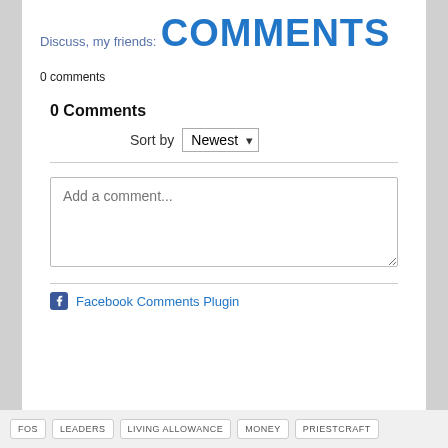Discuss, my friends:
COMMENTS
0 comments
0 Comments
Sort by Newest
[Figure (screenshot): Comment input text area with placeholder 'Add a comment...']
Facebook Comments Plugin
FOS   LEADERS   LIVING ALLOWANCE   MONEY   PRIESTCRAFT